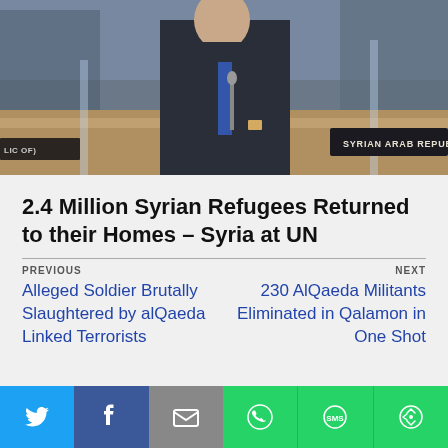[Figure (photo): Men in suits seated at a UN Security Council table. A nameplate reads 'SYRIAN ARAB REPUBLIC'. Another partially visible nameplate reads 'LIC OF'.]
2.4 Million Syrian Refugees Returned to their Homes – Syria at UN
PREVIOUS
Alleged Soldier Brutally Slaughtered by alQaeda Linked Terrorists
NEXT
230 AlQaeda Militants Eliminated in Qalamon in One Shot
[Figure (infographic): Social sharing bar with Twitter (blue), Facebook (dark blue), Email (grey), WhatsApp (green), SMS (green), More (green) buttons with icons]